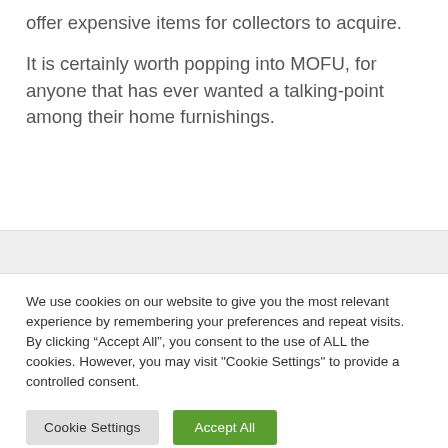offer expensive items for collectors to acquire.
It is certainly worth popping into MOFU, for anyone that has ever wanted a talking-point among their home furnishings.
We use cookies on our website to give you the most relevant experience by remembering your preferences and repeat visits. By clicking “Accept All”, you consent to the use of ALL the cookies. However, you may visit "Cookie Settings" to provide a controlled consent.